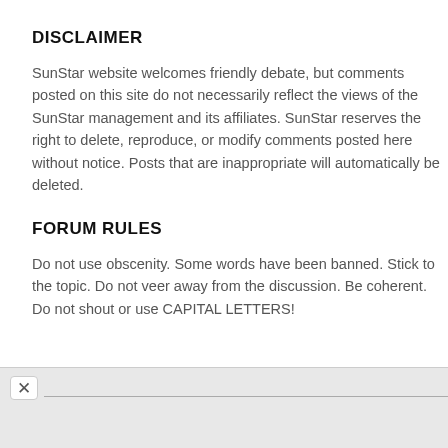DISCLAIMER
SunStar website welcomes friendly debate, but comments posted on this site do not necessarily reflect the views of the SunStar management and its affiliates. SunStar reserves the right to delete, reproduce, or modify comments posted here without notice. Posts that are inappropriate will automatically be deleted.
FORUM RULES
Do not use obscenity. Some words have been banned. Stick to the topic. Do not veer away from the discussion. Be coherent. Do not shout or use CAPITAL LETTERS!